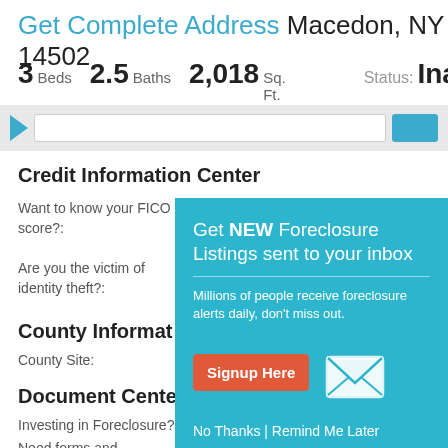Get Complete Address Macedon, NY 14502
3 Beds  2.5 Baths  2,018 Sq. Ft.   Status: Ina
[Figure (screenshot): Navigation bar with blue arrow, search input field, and blue button]
Credit Information Center
Want to know your FICO score?:
Are you the victim of identity theft?:
County Information
County Site:
Document Center
Investing in Foreclosure?:  Get a Title Search
Need forms and contracts?:  Download documents
[Figure (infographic): Popup modal: Get NEW Foreclosure Listings sent to your inbox. Millions of people receive foreclosure alerts daily, don't miss out. Signup Here button. No Thanks | Remind Me Later]